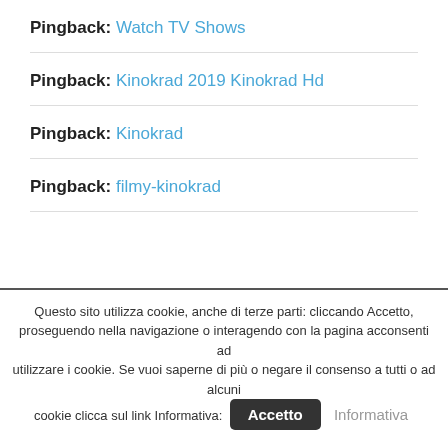Pingback: Watch TV Shows
Pingback: Kinokrad 2019 Kinokrad Hd
Pingback: Kinokrad
Pingback: filmy-kinokrad
Questo sito utilizza cookie, anche di terze parti: cliccando Accetto, proseguendo nella navigazione o interagendo con la pagina acconsenti ad utilizzare i cookie. Se vuoi saperne di più o negare il consenso a tutti o ad alcuni cookie clicca sul link Informativa: Accetto Informativa